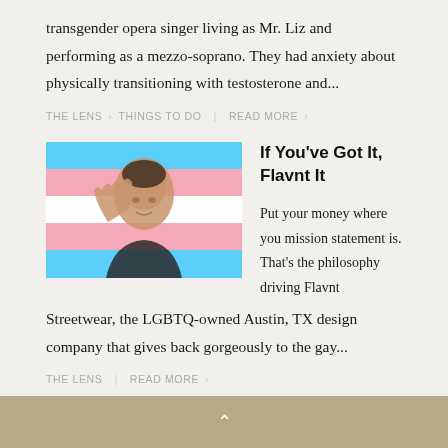transgender opera singer living as Mr. Liz and performing as a mezzo-soprano. They had anxiety about physically transitioning with testosterone and...
THE LENS › THINGS TO DO  |  READ MORE ›
[Figure (photo): A person holding up their hand in front of a transgender pride flag (blue, pink, and white stripes), taking a selfie]
If You've Got It, Flavnt It
Put your money where you mission statement is. That's the philosophy driving Flavnt Streetwear, the LGBTQ-owned Austin, TX design company that gives back gorgeously to the gay...
THE LENS  |  READ MORE ›
^